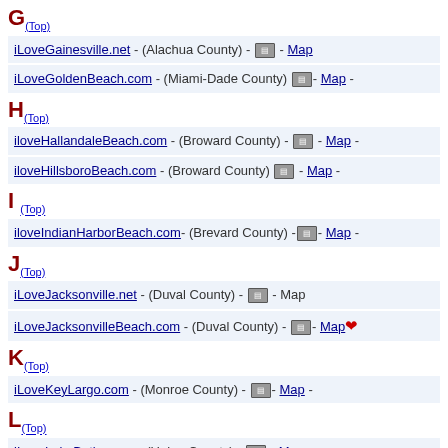G (Top)
iLoveGainesville.net - (Alachua County) - [icon] - Map
iLoveGoldenBeach.com - (Miami-Dade County) [icon]- Map -
H (Top)
iloveHallandaleBeach.com - (Broward County) - [icon] - Map -
iloveHillsboroBeach.com - (Broward County) [icon] - Map -
I (Top)
iloveIndianHarborBeach.com- (Brevard County) -[icon]- Map -
J (Top)
iLoveJacksonville.net - (Duval County) - [icon] - Map
iLoveJacksonvilleBeach.com - (Duval County) - [icon]- Map ❤
K (Top)
iLoveKeyLargo.com - (Monroe County) - [icon]- Map -
L (Top)
iLoveLakeButler.com - (Union County) - [icon] - Map
iLoveLakeCity.com - (Columbia County) - [icon] - Map
iLoveLakePark.com - (Palm Beach County) - [icon]- Map
M (Top)